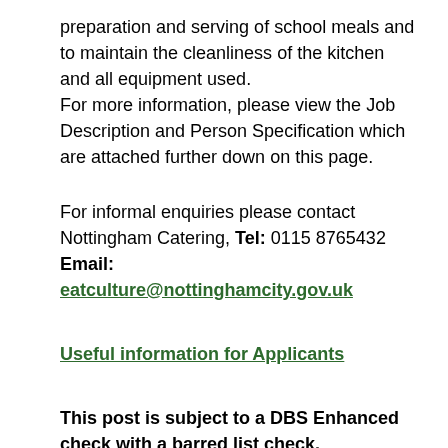preparation and serving of school meals and to maintain the cleanliness of the kitchen and all equipment used.
For more information, please view the Job Description and Person Specification which are attached further down on this page.
For informal enquiries please contact Nottingham Catering, Tel: 0115 8765432 Email: eatculture@nottinghamcity.gov.uk
Useful information for Applicants
This post is subject to a DBS Enhanced check with a barred list check.